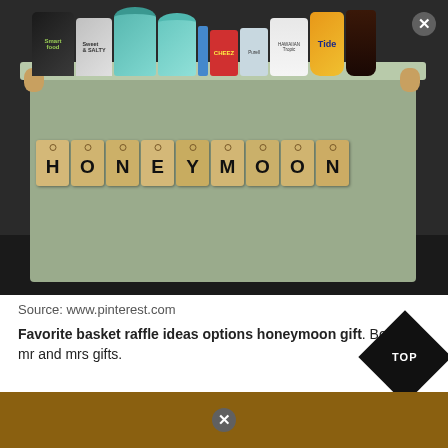[Figure (photo): A light green fabric storage box/basket filled with various products including snack bags, mason jars, Tide detergent, Hawaiian Tropic sunscreen, and other items. The front of the box has kraft paper hang tags spelling out 'HONEYMOON' with flip-flop decorations on each tag.]
Source: www.pinterest.com
Favorite basket raffle ideas options honeymoon gift. Boxed mr and mrs gifts.
[Figure (photo): Partial bottom photo strip showing a wooden surface, partially cut off.]